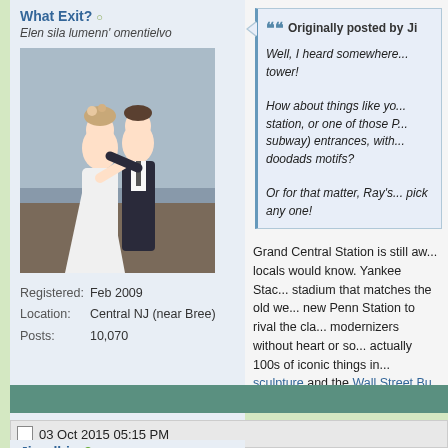What Exit?
Elen sila lumenn' omentielvo
[Figure (photo): Wedding couple dancing, woman in white dress, man in dark suit]
Registered: Feb 2009
Location: Central NJ (near Bree)
Posts: 10,070
Originally posted by Ji...
Well, I heard somewhere... tower!
How about things like yo... station, or one of those P... subway) entrances, with... doodads motifs?
Or for that matter, Ray's... pick any one!
Grand Central Station is still aw... locals would know. Yankee Stac... stadium that matches the old we... new Penn Station to rival the cla... modernizers without heart or so... actually 100s of iconic things in... sculpture and the Wall Street Bu...
03 Oct 2015 05:15 PM
Jizzelbin